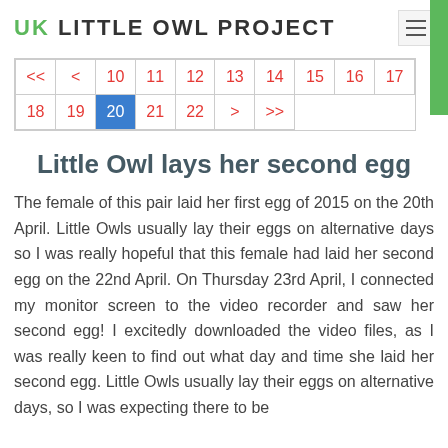UK LITTLE OWL PROJECT
Little Owl lays her second egg
The female of this pair laid her first egg of 2015 on the 20th April. Little Owls usually lay their eggs on alternative days so I was really hopeful that this female had laid her second egg on the 22nd April. On Thursday 23rd April, I connected my monitor screen to the video recorder and saw her second egg! I excitedly downloaded the video files, as I was really keen to find out what day and time she laid her second egg. Little Owls usually lay their eggs on alternative days, so I was expecting there to be